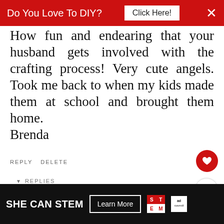Do You Love To DIY? Click Here!
How fun and endearing that your husband gets involved with the crafting process! Very cute angels. Took me back to when my kids made them at school and brought them home.
Brenda
REPLY  DELETE
REPLIES
Kim
DECEMBER 7, 2017 AT 11:11 AM
He's a very good guy
WHAT'S NEXT → Handmade Sock Angel...
SHE CAN STEM   Learn More